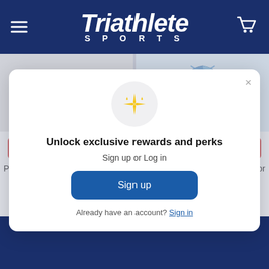Triathlete SPORTS
[Figure (screenshot): Product image: Pearl Izumi Women's Aurora Tank (white visor hat visible, cropped)]
CHOOSE OPTIONS
Pearl Izumi Women's Aurora Tank
[Figure (screenshot): Product image: Pearl Izumi Women's UltraSensor Infini T (blue shirt visible, cropped)]
CHOOSE OPTIONS
Pearl Izumi Women's UltraSensor Infini T
[Figure (illustration): Modal popup with sparkle icon, 'Unlock exclusive rewards and perks' heading, Sign up or Log in text, Sign up button, and Already have an account? Sign in link]
Unlock exclusive rewards and perks
Sign up or Log in
Sign up
Already have an account? Sign in